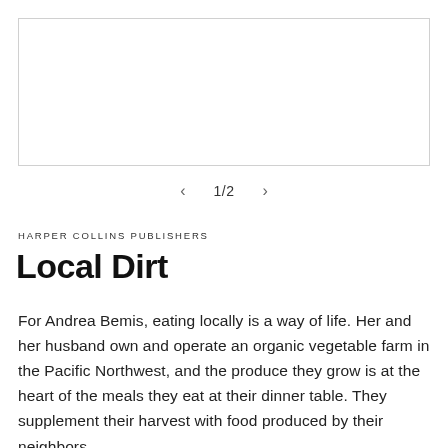[Figure (other): Image placeholder/carousel area, white rectangle with border]
1/2
HARPER COLLINS PUBLISHERS
Local Dirt
For Andrea Bemis, eating locally is a way of life. Her and her husband own and operate an organic vegetable farm in the Pacific Northwest, and the produce they grow is at the heart of the meals they eat at their dinner table. They supplement their harvest with food produced by their neighbors.